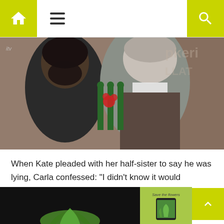Navigation bar with home icon, hamburger menu, and search icon
[Figure (photo): TV screenshot showing two men outdoors. Left man has dark beard and jacket; right man has grey hair and suit. Green metal decoration visible between them. ITV logo watermark in top left corner. Background shows brick building.]
When Kate pleaded with her half-sister to say he was lying, Carla confessed: "I didn't know it would collapse. But I knew there was a problem."
[Figure (screenshot): Bottom strip showing two images: left image is dark/black background with green plant imagery, right image shows a mobile phone with 'Save the flowers' text on green background with plant imagery.]